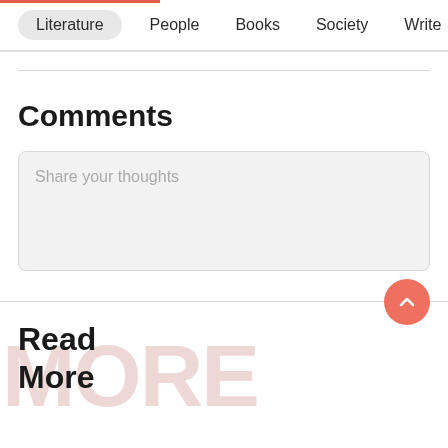Literature   People   Books   Society   Write
Comments
Share your thoughts
Read More